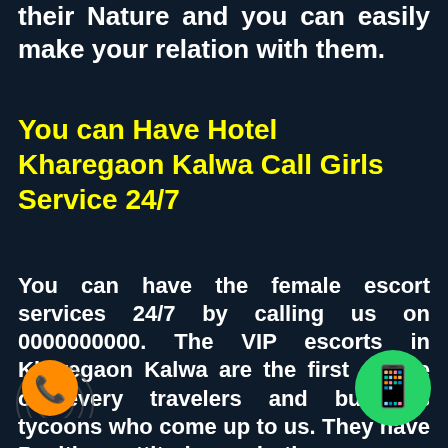their Nature and you can easily make your relation with them.
You can Have Hotel Kharegaon Kalwa Call Girls Service 24/7
You can have the female escort services 24/7 by calling us on 0000000000. The VIP escorts in Kharegaon Kalwa are the first choice of every travelers and business tycoons who come up to us. They have Positive attitude and they are so talkative and friendly nature. These Escort girls are one of the Best ladies in Mumbai. So book our Russian
[Figure (illustration): Orange phone call icon circle with radar rings on bottom left]
[Figure (illustration): Green WhatsApp icon circle on bottom right]